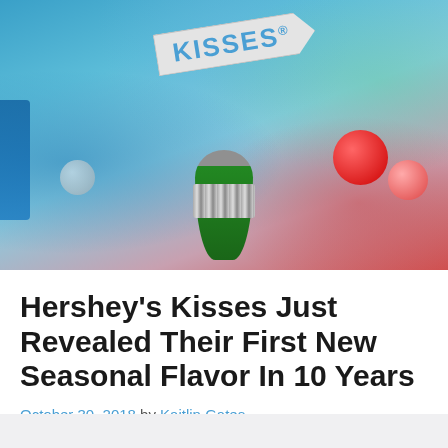[Figure (photo): Close-up photo of Hershey's Kisses candy in green and silver foil with a white tag reading 'KISSES®' in blue letters, surrounded by blurred holiday ornaments in red and pink against a teal/blue background.]
Hershey's Kisses Just Revealed Their First New Seasonal Flavor In 10 Years
October 30, 2018 by Kaitlin Gates